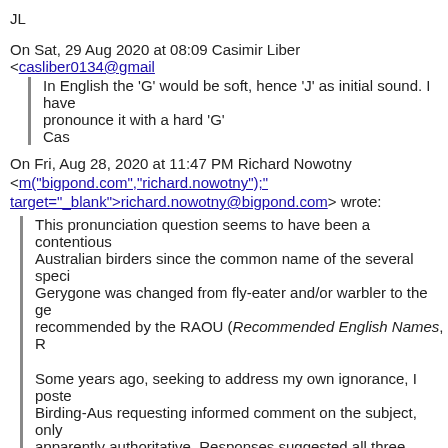JL
On Sat, 29 Aug 2020 at 08:09 Casimir Liber <casliber0134@gmail...>
    In English the 'G' would be soft, hence 'J' as initial sound. I have pronounce it with a hard 'G'
    Cas
On Fri, Aug 28, 2020 at 11:47 PM Richard Nowotny <m("bigpond.com","richard.nowotny"); target="_blank">richard.nowotny@bigpond.com> wrote:
This pronunciation question seems to have been a contentious Australian birders since the common name of the several speci Gerygone was changed from fly-eater and/or warbler to the ge recommended by the RAOU (Recommended English Names, R
Some years ago, seeking to address my own ignorance, I poste Birding-Aus requesting informed comment on the subject, only apparently authoritative. Responses suggested all three pronun based on little more than personal belief, typically arising from